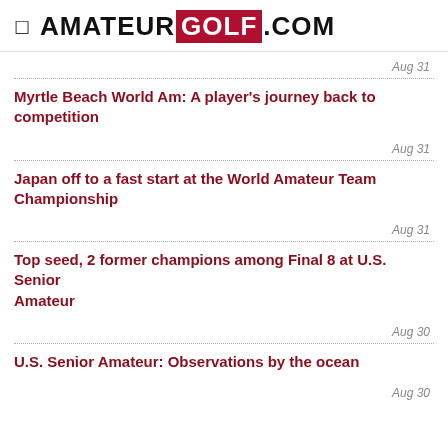AMATEUR GOLF .COM
Aug 31
Myrtle Beach World Am: A player's journey back to competition
Aug 31
Japan off to a fast start at the World Amateur Team Championship
Aug 31
Top seed, 2 former champions among Final 8 at U.S. Senior Amateur
Aug 30
U.S. Senior Amateur: Observations by the ocean
Aug 30